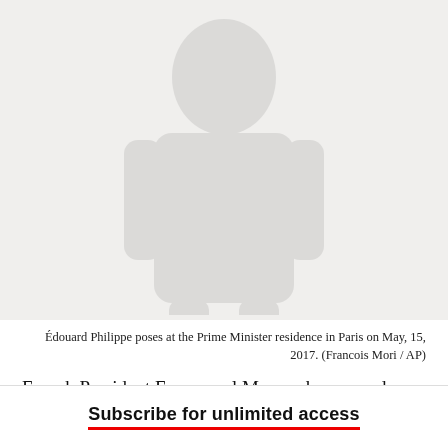[Figure (photo): Faded silhouette/watermark of Édouard Philippe posing at the Prime Minister residence in Paris]
Édouard Philippe poses at the Prime Minister residence in Paris on May, 15, 2017. (Francois Mori / AP)
French President Emmanuel Macron has named Édouard Philippe, the center-right Le Havre mayor, his prime minister. The announcement Monday, the first official day of Macron's presidency, could signal Macron's attempts to appeal to more moderate voters ahead of France's pivotal legislative elections next month and his attempts to govern away from France's traditional left-right political divide. Philippe, 46, is widely regarded as a centrist, having supported
Subscribe for unlimited access